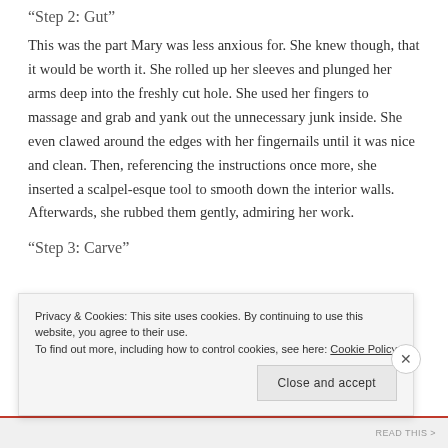“Step 2: Gut”
This was the part Mary was less anxious for. She knew though, that it would be worth it. She rolled up her sleeves and plunged her arms deep into the freshly cut hole. She used her fingers to massage and grab and yank out the unnecessary junk inside. She even clawed around the edges with her fingernails until it was nice and clean. Then, referencing the instructions once more, she inserted a scalpel-esque tool to smooth down the interior walls. Afterwards, she rubbed them gently, admiring her work.
“Step 3: Carve”
Privacy & Cookies: This site uses cookies. By continuing to use this website, you agree to their use. To find out more, including how to control cookies, see here: Cookie Policy
Close and accept